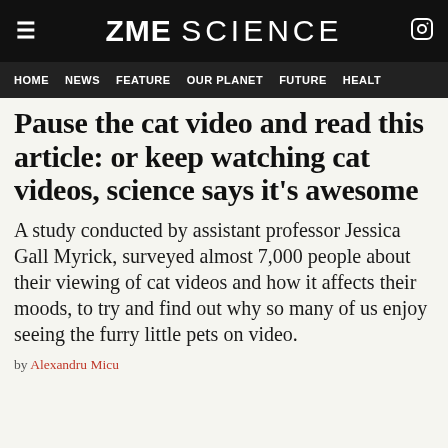ZME SCIENCE
HOME  NEWS  FEATURE  OUR PLANET  FUTURE  HEALT
Pause the cat video and read this article: or keep watching cat videos, science says it's awesome
A study conducted by assistant professor Jessica Gall Myrick, surveyed almost 7,000 people about their viewing of cat videos and how it affects their moods, to try and find out why so many of us enjoy seeing the furry little pets on video.
by Alexandru Micu